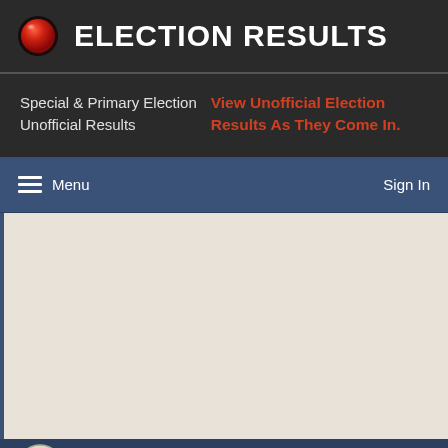ELECTION RESULTS
Special & Primary Election Unofficial Results  View Unofficial Election Results As They Come In.
Menu  Sign In
[Figure (screenshot): Empty content area with beige/tan background]
Schuyler County (partial, logo visible)